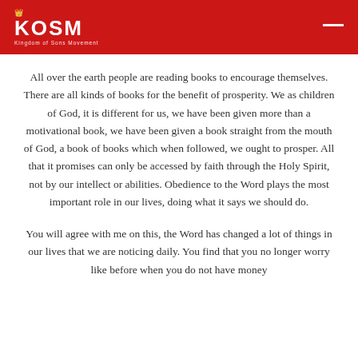KOSM
All over the earth people are reading books to encourage themselves. There are all kinds of books for the benefit of prosperity. We as children of God, it is different for us, we have been given more than a motivational book, we have been given a book straight from the mouth of God, a book of books which when followed, we ought to prosper. All that it promises can only be accessed by faith through the Holy Spirit, not by our intellect or abilities. Obedience to the Word plays the most important role in our lives, doing what it says we should do.
You will agree with me on this, the Word has changed a lot of things in our lives that we are noticing daily. You find that you no longer worry like before when you do not have money